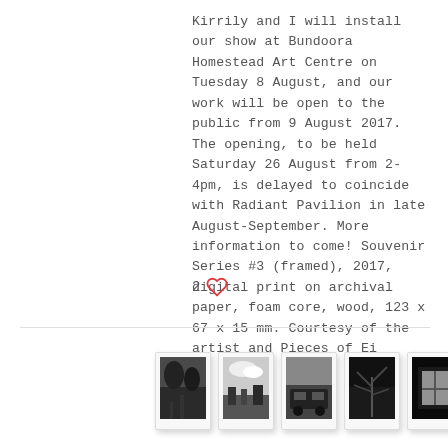Kirrily and I will install our show at Bundoora Homestead Art Centre on Tuesday 8 August, and our work will be open to the public from 9 August 2017. The opening, to be held Saturday 26 August from 2-4pm, is delayed to coincide with Radiant Pavilion in late August-September. More information to come! Souvenir Series #3 (framed), 2017, digital print on archival paper, foam core, wood, 123 x 67 x 15 mm. Courtesy of the artist and Pieces of Ei
2 ♡
[Figure (photo): Six small polaroid-style black and white photographs in a horizontal row showing various outdoor and indoor scenes including trees, clouds, vehicles, plants, and a window.]